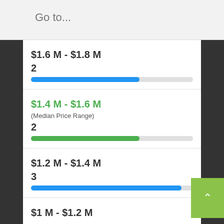Go to...
$1.6 M - $1.8 M
2
[Figure (bar-chart): $1.6M-$1.8M bar]
$1.4 M - $1.6 M
(Median Price Range)
2
[Figure (bar-chart): $1.4M-$1.6M bar]
$1.2 M - $1.4 M
3
[Figure (bar-chart): $1.2M-$1.4M bar]
$1 M - $1.2 M